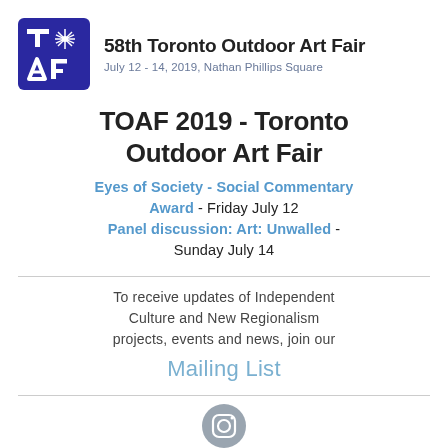[Figure (logo): TOAF logo — dark blue square with white T, sunburst, A, F letters; beside it '58th Toronto Outdoor Art Fair' title and 'July 12 - 14, 2019, Nathan Phillips Square' subtitle]
TOAF 2019 - Toronto Outdoor Art Fair
Eyes of Society - Social Commentary Award - Friday July 12
Panel discussion: Art: Unwalled - Sunday July 14
To receive updates of Independent Culture and New Regionalism projects, events and news, join our Mailing List
[Figure (logo): Instagram camera icon in grey circle]
www.independent-culture.co
© 2022 Independent Culture